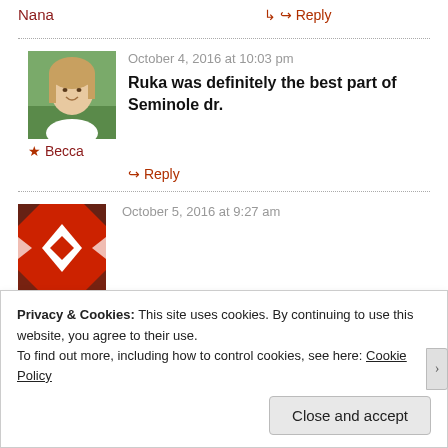Nana
↳ Reply
October 4, 2016 at 10:03 pm
Ruka was definitely the best part of Seminole dr.
★ Becca
↳ Reply
[Figure (photo): Avatar photo of woman with long light brown hair smiling outdoors]
October 5, 2016 at 9:27 am
[Figure (illustration): Red diamond/geometric pattern avatar icon on red background]
Privacy & Cookies: This site uses cookies. By continuing to use this website, you agree to their use. To find out more, including how to control cookies, see here: Cookie Policy
Close and accept